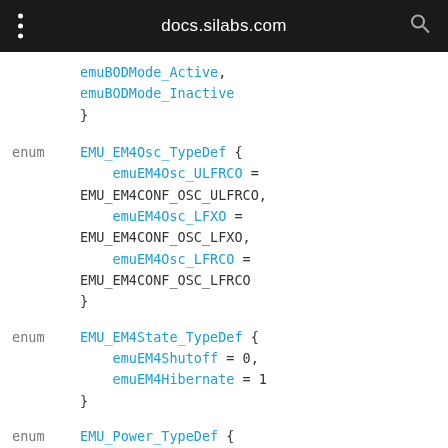docs.silabs.com
emuBODMode_Active,
    emuBODMode_Inactive
}
enum EMU_EM4Osc_TypeDef {
    emuEM4Osc_ULFRCO = EMU_EM4CONF_OSC_ULFRCO,
    emuEM4Osc_LFXO = EMU_EM4CONF_OSC_LFXO,
    emuEM4Osc_LFRCO = EMU_EM4CONF_OSC_LFRCO
}
enum EMU_EM4State_TypeDef {
    emuEM4Shutoff = 0,
    emuEM4Hibernate = 1
}
enum EMU_Power_TypeDef {